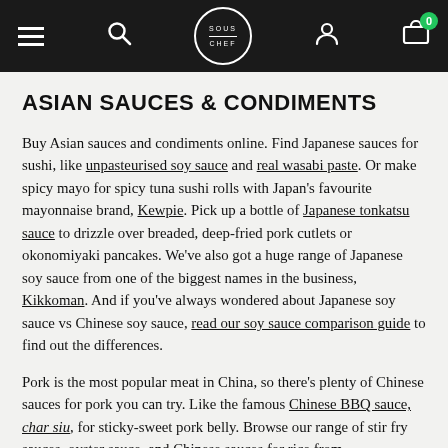SOUS CHEF
ASIAN SAUCES & CONDIMENTS
Buy Asian sauces and condiments online. Find Japanese sauces for sushi, like unpasteurised soy sauce and real wasabi paste. Or make spicy mayo for spicy tuna sushi rolls with Japan's favourite mayonnaise brand, Kewpie. Pick up a bottle of Japanese tonkatsu sauce to drizzle over breaded, deep-fried pork cutlets or okonomiyaki pancakes. We've also got a huge range of Japanese soy sauce from one of the biggest names in the business, Kikkoman. And if you've always wondered about Japanese soy sauce vs Chinese soy sauce, read our soy sauce comparison guide to find out the differences.
Pork is the most popular meat in China, so there's plenty of Chinese sauces for pork you can try. Like the famous Chinese BBQ sauce, char siu, for sticky-sweet pork belly. Browse our range of stir fry sauces, oyster sauce, and Chinese sauces for rice from